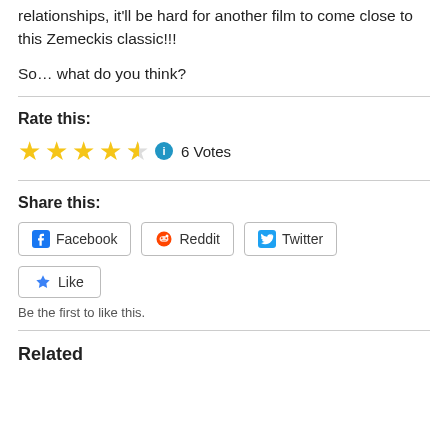relationships, it'll be hard for another film to come close to this Zemeckis classic!!!
So… what do you think?
Rate this:
[Figure (other): 4.5 star rating with info icon, 6 Votes]
Share this:
[Figure (other): Social share buttons: Facebook, Reddit, Twitter]
[Figure (other): Like button]
Be the first to like this.
Related